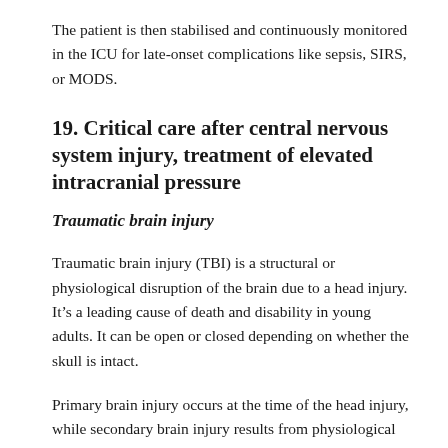The patient is then stabilised and continuously monitored in the ICU for late-onset complications like sepsis, SIRS, or MODS.
19. Critical care after central nervous system injury, treatment of elevated intracranial pressure
Traumatic brain injury
Traumatic brain injury (TBI) is a structural or physiological disruption of the brain due to a head injury. It’s a leading cause of death and disability in young adults. It can be open or closed depending on whether the skull is intact.
Primary brain injury occurs at the time of the head injury, while secondary brain injury results from physiological changes which follow the head injury.